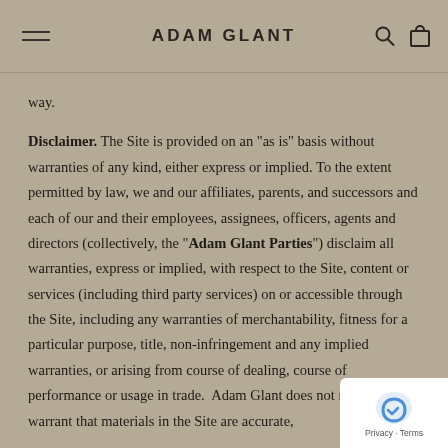ADAM GLANT
way.
Disclaimer. The Site is provided on an "as is" basis without warranties of any kind, either express or implied. To the extent permitted by law, we and our affiliates, parents, and successors and each of our and their employees, assignees, officers, agents and directors (collectively, the "Adam Glant Parties") disclaim all warranties, express or implied, with respect to the Site, content or services (including third party services) on or accessible through the Site, including any warranties of merchantability, fitness for a particular purpose, title, non-infringement and any implied warranties, or arising from course of dealing, course of performance or usage in trade. Adam Glant does not represent or warrant that materials in the Site are accurate,